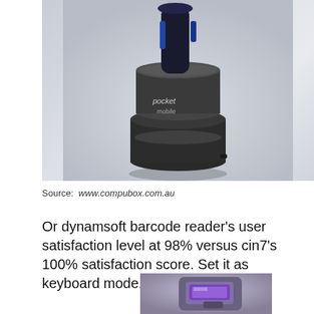[Figure (photo): Photo of a Pocket Mobile barcode scanner sitting in a black cylindrical charging dock. The scanner has a blue/dark handle and the dock is matte black with 'pocket mobile' logo text visible on the front.]
Source: www.compubox.com.au
Or dynamsoft barcode reader's user satisfaction level at 98% versus cin7's 100% satisfaction score. Set it as keyboard mode.
[Figure (photo): Photo of a handheld barcode scanner device with a purple/violet scan window, shown from above at an angle.]